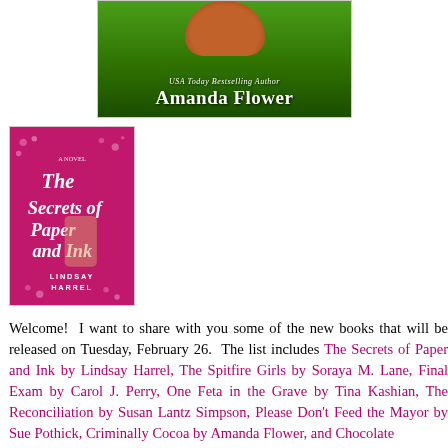[Figure (photo): Book cover showing grass with a squirrel, text reads 'USA Today Bestselling Author Amanda Flower']
[Figure (photo): Book cover for 'The Secrets of Paper and Ink' by Lindsay Harrel, pink/magenta cover with a hand holding the book, cherry blossoms in background]
Welcome!  I want to share with you some of the new books that will be released on Tuesday, February 26.  The list includes The Secrets of Paper and Ink by Lindsay Harrel, The Spitfire Girls by Soraya M. Lane, Final Exam by Carol J. Perry, One Feta in the Grave by Tina Kashian, The Reconciliation by Susan Lantz Simpson, Please Don't Feed the Mayor by Sue Pothick, Criminally Cocoa by Amanda Flower, and Chocolate